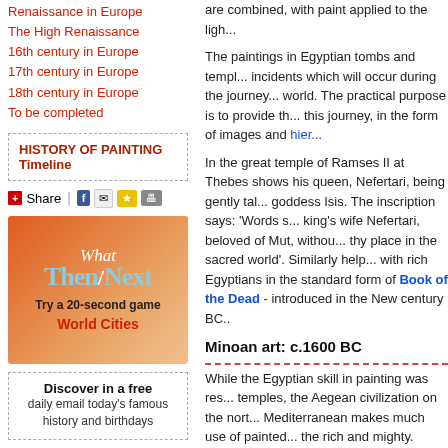Renaissance in Europe
The High Renaissance
16th century in Europe
17th century in Europe
18th century in Europe
To be completed
HISTORY OF PAINTING
Timeline
Share
[Figure (infographic): What Then/Next - Try a 20-second game - World Cities advertisement box with gradient orange background]
Discover in a free
daily email today's famous
history and birthdays
are combined, with paint applied to the ligh...
The paintings in Egyptian tombs and temples... incidents which will occur during the journey... world. The practical purpose is to provide th... this journey, in the form of images and hier...
In the great temple of Ramses II at Thebes shows his queen, Nefertari, being gently tal... goddess Isis. The inscription says: 'Words s... king's wife Nefertari, beloved of Mut, withou... thy place in the sacred world'. Similarly help... with rich Egyptians in the standard form of Book of the Dead - introduced in the New century BC..
Minoan art: c.1600 BC
While the Egyptian skill in painting was res... temples, the Aegean civilization on the nort... Mediterranean makes much use of painted... the rich and mighty.
A fresco of about 1600 BC in the royal pala... develops the island's link with the cult of the... the charging creature while an acrobat vaul...
The island of Thera is at this time a thriving... 1525 BC it is suddenly submerged in volca... local volcano. Archaeological excavations c... Santorin) have unearthed some remarkably...